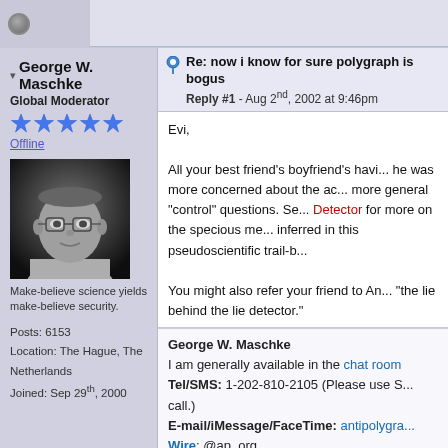George W. Maschke — Global Moderator, Offline, Posts: 6153, Location: The Hague, The Netherlands, Joined: Sep 29th, 2000
[Figure (photo): Black and white portrait photo of a middle-aged man with glasses]
Make-believe science yields make-believe security.
Posts: 6153
Location: The Hague, The Netherlands
Joined: Sep 29th, 2000
Re: now i know for sure polygraph is bogus
Reply #1 - Aug 2nd, 2002 at 9:46pm
Evi,

All your best friend's boyfriend's having... he was more concerned about the ac... more general "control" questions. Se... Detector for more on the specious me... inferred in this pseudoscientific trail-b...

You might also refer your friend to An... "the lie behind the lie detector."
George W. Maschke
I am generally available in the chat room
Tel/SMS: 1-202-810-2105 (Please use S... call.)
E-mail/iMessage/FaceTime: antipolygra...
Wire: @ap_org
Threema: A4PYDD5S
Personal Statement: "Too Hot of a Pota...